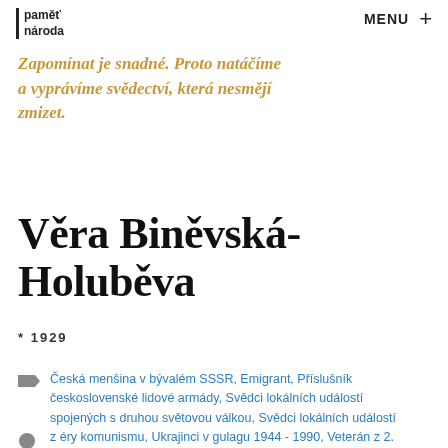paměť národa | MENU +
Zapomínat je snadné. Proto natáčíme a vyprávíme svědectví, která nesmějí zmizet.
Věra Biněvská-Holuběva
* 1929
Česká menšina v bývalém SSSR, Emigrant, Příslušník československé lidové armády, Svědci lokálních událostí spojených s druhou světovou válkou, Svědci lokálních událostí z éry komunismu, Ukrajinci v gulagu 1944 - 1990, Veterán z 2. světové války, východní fronta